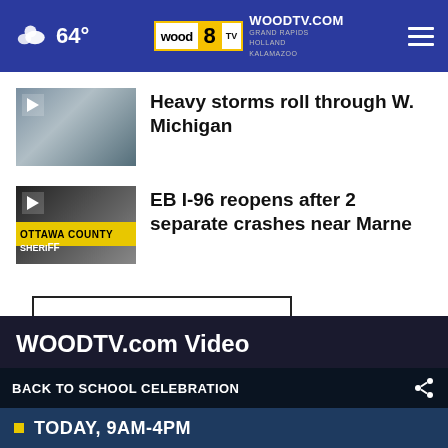64° WOODTV.COM GRAND RAPIDS HOLLAND KALAMAZOO
Heavy storms roll through W. Michigan
EB I-96 reopens after 2 separate crashes near Marne
More Stories >
WOODTV.com Video
BACK TO SCHOOL CELEBRATION
TODAY, 9AM-4PM